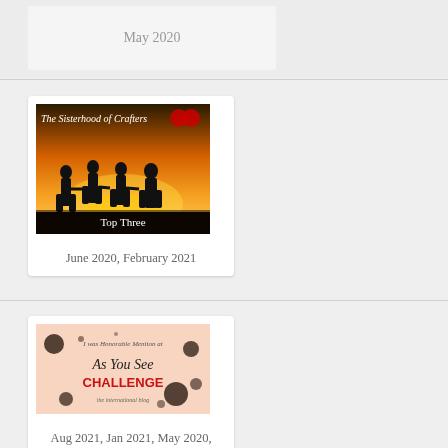May 2020
[Figure (illustration): The Sisterhood of Crafters badge showing four silhouetted women holding hands at sunset with text 'Top Three']
June 2020, February 2021
[Figure (illustration): As You See Challenge badge with pink background, dark ink splatter, and red text reading CHALLENGE]
Aug 2021, Jan 2021, May 2020,